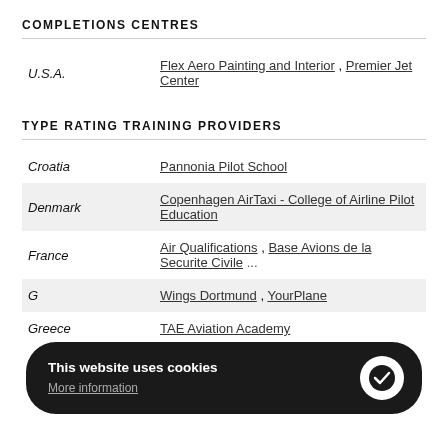COMPLETIONS CENTRES
| Country | Providers |
| --- | --- |
| U.S.A. | Flex Aero Painting and Interior , Premier Jet Center |
TYPE RATING TRAINING PROVIDERS
| Country | Providers |
| --- | --- |
| Croatia | Pannonia Pilot School |
| Denmark | Copenhagen AirTaxi - College of Airline Pilot Education |
| France | Air Qualifications , Base Avions de la Securite Civile ... |
| Germany (partial) | Wings Dortmund , YourPlane |
| Greece | TAE Aviation Academy |
This website uses cookies. More information